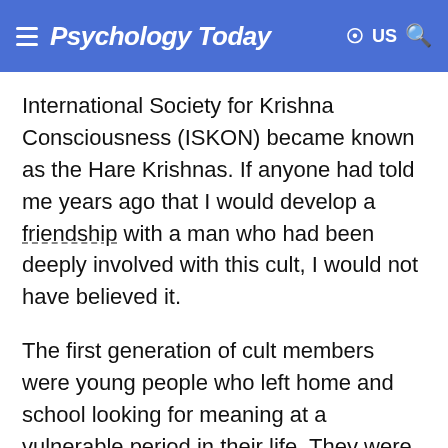Psychology Today
International Society for Krishna Consciousness (ISKON) became known as the Hare Krishnas. If anyone had told me years ago that I would develop a friendship with a man who had been deeply involved with this cult, I would not have believed it.
The first generation of cult members were young people who left home and school looking for meaning at a vulnerable period in their life. They were seduced into thinking they had found what they were looking for in such groups as the Unification Church, Children of God, the International Society for Krishna Consciousness